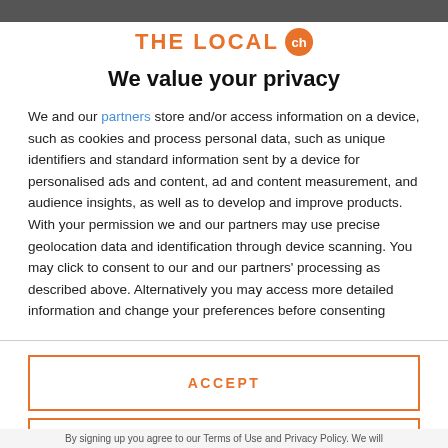[Figure (logo): THE LOCAL ch logo with orange text and orange circle badge with 'ch']
We value your privacy
We and our partners store and/or access information on a device, such as cookies and process personal data, such as unique identifiers and standard information sent by a device for personalised ads and content, ad and content measurement, and audience insights, as well as to develop and improve products. With your permission we and our partners may use precise geolocation data and identification through device scanning. You may click to consent to our and our partners' processing as described above. Alternatively you may access more detailed information and change your preferences before consenting
ACCEPT
MORE OPTIONS
By signing up you agree to our Terms of Use and Privacy Policy. We will